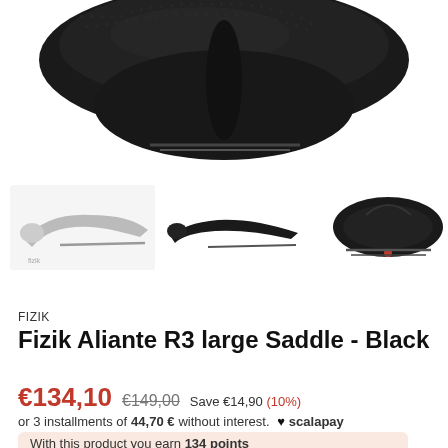[Figure (photo): Close-up top view of a black Fizik Aliante R3 bicycle saddle showing textured surface and rail details]
[Figure (photo): Three thumbnail images of the Fizik Aliante R3 saddle: side view in grey, side profile in black, and front angled view in black]
FIZIK
Fizik Aliante R3 large Saddle - Black
€134,10  €149,00  Save €14,90 (10%)
or 3 installments of 44,70 € without interest. ♥scalapay
With this product you earn 134 points